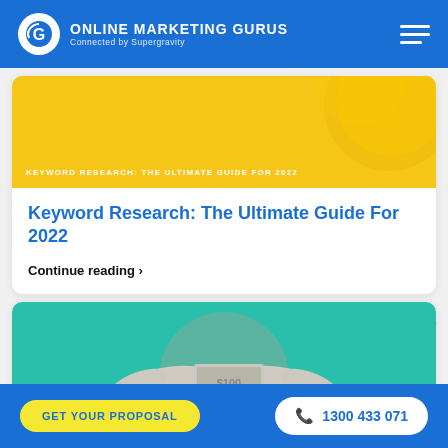ONLINE MARKETING GURUS Connected by Supergravity
[Figure (photo): Yellow banner with text 'KEYWORD RESEARCH: THE ULTIMATE GUIDE FOR 2022' and a decorative circular element]
Keyword Research: The Ultimate Guide For 2022
Continue reading >
[Figure (photo): Teal/turquoise banner showing two hands exchanging US dollar bills over a beige circle background]
GET YOUR PROPOSAL | 1300 433 071